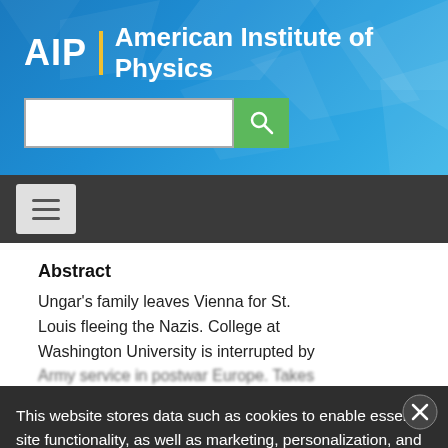[Figure (logo): AIP | American Institute of Physics logo on blue gradient background with geometric polygon decorations and a search bar below]
[Figure (screenshot): Dark navigation bar with hamburger menu button]
Abstract
Ungar's family leaves Vienna for St. Louis fleeing the Nazis. College at Washington University is interrupted by Army service in postwar Europe. Takes up mechanical engineering on return to Washington University, master's degree while employed at Sandia Laboratories. After a Ph.D., University where he briefly teaches.
This website stores data such as cookies to enable essential site functionality, as well as marketing, personalization, and analytics. By remaining on this website you indicate your consent. Privacy Policy